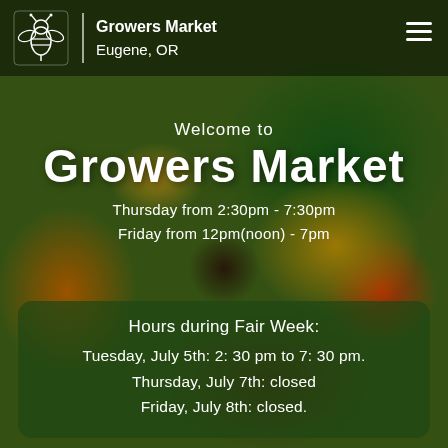[Figure (photo): Background photo of a basket of vegetables including lettuce, peppers, tomatoes, mushrooms, onions and other produce on a wooden surface]
Growers Market
Eugene, OR
Welcome to
Growers Market
Thursday from 2:30pm - 7:30pm
Friday from 12pm(noon) - 7pm
Hours during Fair Week:
Tuesday, July 5th: 2: 30 pm to 7: 30 pm.
Thursday, July 7th: closed
Friday, July 8th: closed.